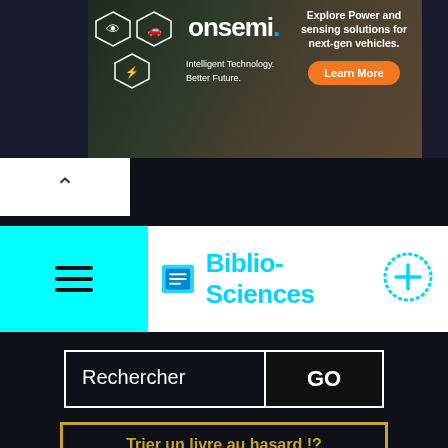[Figure (screenshot): onsemi advertisement banner: hexagonal icons on left, brand name 'onsemi' in center, 'Explore Power and sensing solutions for next-gen vehicles.' text with orange 'Learn More' button on right, car silhouette background]
[Figure (screenshot): Website navigation bar with cyan/turquoise background on left showing hamburger menu icon, followed by white section with cyan book icon and 'Biblio-Sciences' brand name in cyan, and circular '+' icon on right]
[Figure (screenshot): Search bar with 'Rechercher' placeholder text on dark background with 'GO' button, and yellow-bordered button labeled 'Trier un livre au hasard !?' below]